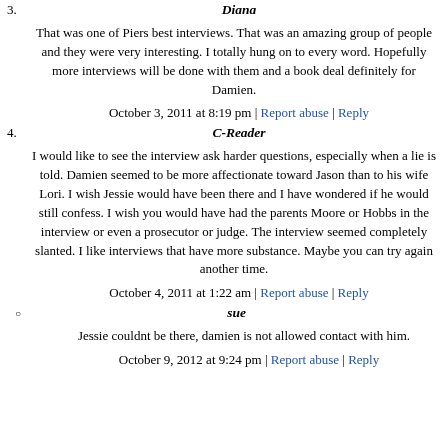3. Diana
That was one of Piers best interviews. That was an amazing group of people and they were very interesting. I totally hung on to every word. Hopefully more interviews will be done with them and a book deal definitely for Damien.
October 3, 2011 at 8:19 pm | Report abuse | Reply
4. C-Reader
I would like to see the interview ask harder questions, especially when a lie is told. Damien seemed to be more affectionate toward Jason than to his wife Lori. I wish Jessie would have been there and I have wondered if he would still confess. I wish you would have had the parents Moore or Hobbs in the interview or even a prosecutor or judge. The interview seemed completely slanted. I like interviews that have more substance. Maybe you can try again another time.
October 4, 2011 at 1:22 am | Report abuse | Reply
sue
Jessie couldnt be there, damien is not allowed contact with him.
October 9, 2012 at 9:24 pm | Report abuse | Reply